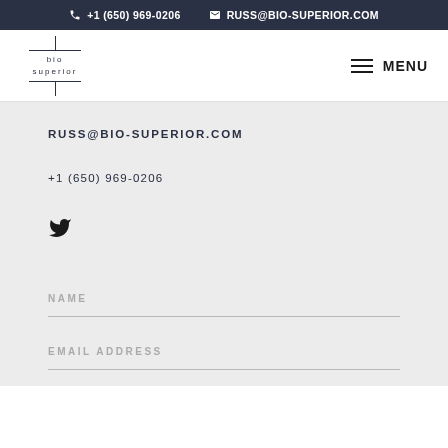+1 (650) 969-0206  RUSS@BIO-SUPERIOR.COM
[Figure (logo): Bio Superior logo with vertical and horizontal lines framing the text 'bio superior']
MENU
RUSS@BIO-SUPERIOR.COM
+1 (650) 969-0206
[Figure (illustration): Twitter bird icon]
NAME
EMAIL ADDRESS